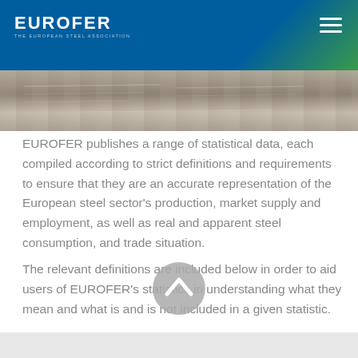EUROFER — THE EUROPEAN STEEL ASSOCIATION
[Figure (photo): Close-up photo strip of documents or papers with text, serving as a decorative banner image]
EUROFER publishes a range of statistical data, each compiled according to strict definitions and requirements to ensure that they are an accurate representation of the European steel sector's production, market supply and employment, as well as real and apparent steel consumption, and trade situation.
The relevant definitions are included below in order to aid users of EUROFER's statistics in understanding what they mean and what is and is not included in a given statistic.
[Figure (illustration): Grey circular back-to-top navigation button with an upward-pointing chevron/arrow icon]